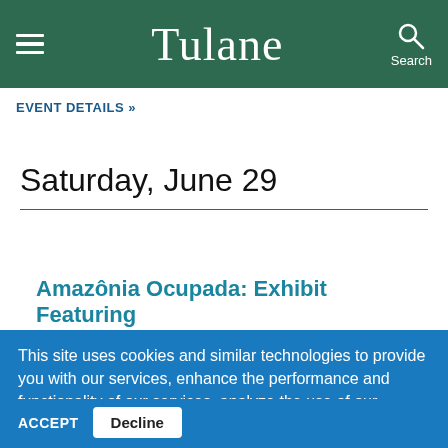Tulane
EVENT DETAILS »
Saturday, June 29
Amazônia Ocupada: Exhibit Featuring
This site uses cookies and similar technologies to provide you with our services, enhance the performance and functionality of our services, analyze the use of our products and services, and assist with our advertising and marketing efforts. Privacy Notice GDPR Privacy Policy
ACCEPT  Decline